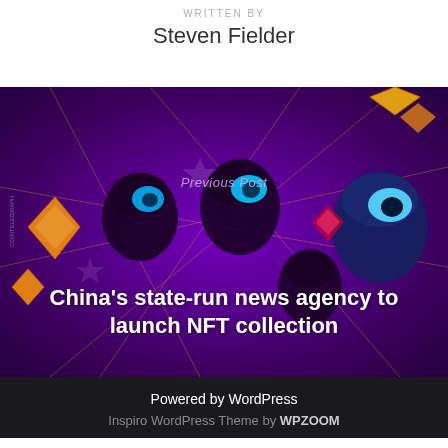WRITTEN BY
Steven Fielder
[Figure (illustration): Colorful digital art illustration showing stylized cartoon characters (crypto/NFT themed Among Us-like figures with blue accents) against a purple/violet background with glowing neon network lines and orange gem/crystal shapes. Text overlay: 'Previous Post' in italic purple, and headline 'China's state-run news agency to launch NFT collection' in bold white.]
Powered by WordPress
Inspiro WordPress Theme by WPZOOM